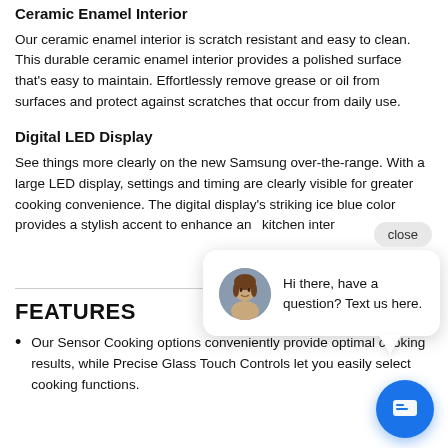Ceramic Enamel Interior
Our ceramic enamel interior is scratch resistant and easy to clean. This durable ceramic enamel interior provides a polished surface that's easy to maintain. Effortlessly remove grease or oil from surfaces and protect against scratches that occur from daily use.
Digital LED Display
See things more clearly on the new Samsung over-the-range. With a large LED display, settings and timing are clearly visible for greater cooking convenience. The digital display's striking ice blue color provides a stylish accent to enhance an kitchen inter
[Figure (photo): Chat popup overlay with avatar photo of a woman, text 'Hi there, have a question? Text us here.', a close button, and a blue chat FAB button.]
FEATURES
Our Sensor Cooking options conveniently provide optimal cooking results, while Precise Glass Touch Controls let you easily select cooking functions.